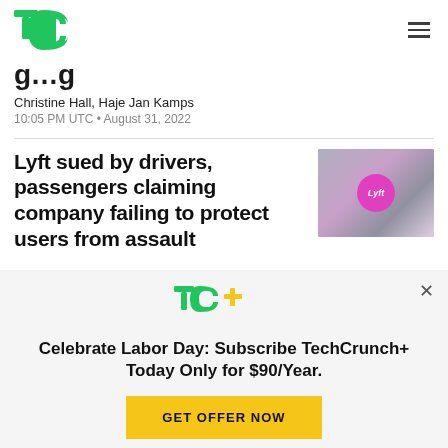TechCrunch logo and navigation
g...g (partial title visible)
Christine Hall, Haje Jan Kamps
10:05 PM UTC • August 31, 2022
Lyft sued by drivers, passengers claiming company failing to protect users from assault
[Figure (photo): Blurred photo of Lyft logo/car with pink circular Lyft emblem]
Celebrate Labor Day: Subscribe TechCrunch+ Today Only for $90/Year.
GET OFFER NOW